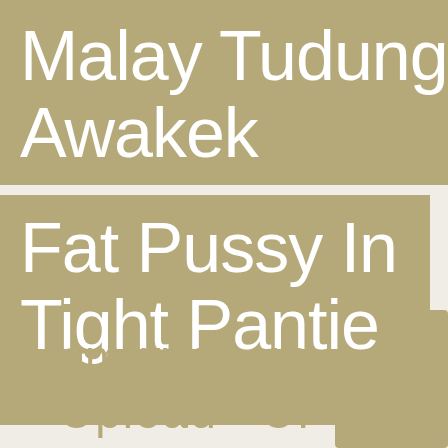Malay Tudung Awakek
Fat Pussy In Tight Pantie
amyrun.com
Upload  UP